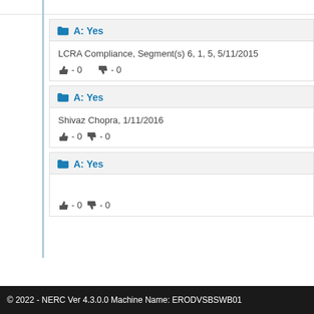A: Yes
LCRA Compliance, Segment(s) 6, 1, 5, 5/11/2015
👍 - 0 👎 - 0
A: Yes
Shivaz Chopra, 1/11/2016
👍 - 0 👎 - 0
A: Yes
👍 - 0 👎 - 0
© 2022 - NERC Ver 4.3.0.0 Machine Name: ERODVSBSWB01